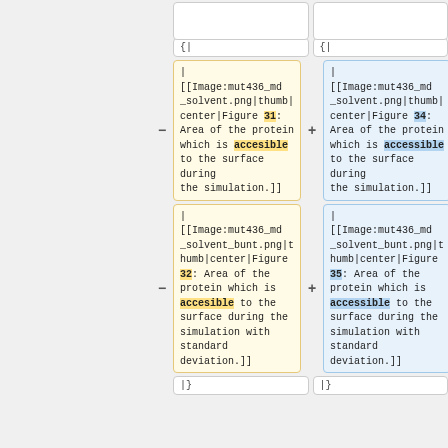[ [[Image:mut436_md_solvent.png|thumb|center|Figure 31: Area of the protein which is accesible to the surface during the simulation.]]
[ [[Image:mut436_md_solvent.png|thumb|center|Figure 34: Area of the protein which is accessible to the surface during the simulation.]]
[ [[Image:mut436_md_solvent_bunt.png|thumb|center|Figure 32: Area of the protein which is accesible to the surface during the simulation with standard deviation.]]
[ [[Image:mut436_md_solvent_bunt.png|thumb|center|Figure 35: Area of the protein which is accessible to the surface during the simulation with standard deviation.]]